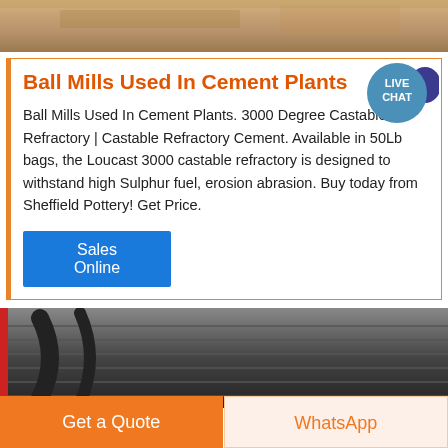[Figure (photo): Top photo of sandy/earthy ground or construction site material, brownish tones]
Ball Mills Used In Cement Plants
Ball Mills Used In Cement Plants. 3000 Degree Castable Refractory | Castable Refractory Cement. Available in 50Lb bags, the Loucast 3000 castable refractory is designed to withstand high Sulphur fuel, erosion abrasion. Buy today from Sheffield Pottery! Get Price.
[Figure (screenshot): Live Chat bubble icon in teal/blue with dark blue speech bubble tail]
Sales Online
[Figure (photo): Bottom photo showing industrial equipment, dark tones with curved metal parts]
Get a Quote
WhatsApp